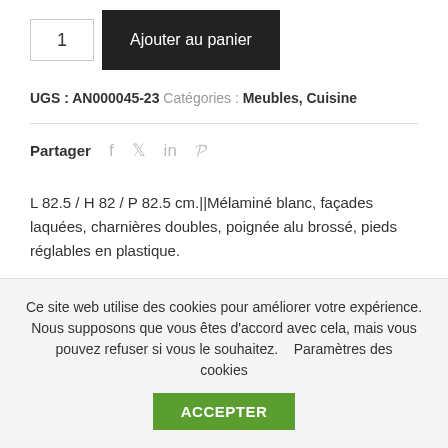1  Ajouter au panier
UGS : AN000045-23  Catégories : Meubles, Cuisine
Partager  f  t  in  p
L 82.5 / H 82 / P 82.5 cm.||Mélaminé blanc, façades laquées, charnières doubles, poignée alu brossé, pieds réglables en plastique.
Ce site web utilise des cookies pour améliorer votre expérience. Nous supposons que vous êtes d'accord avec cela, mais vous pouvez refuser si vous le souhaitez.    Paramètres des cookies   ACCEPTER